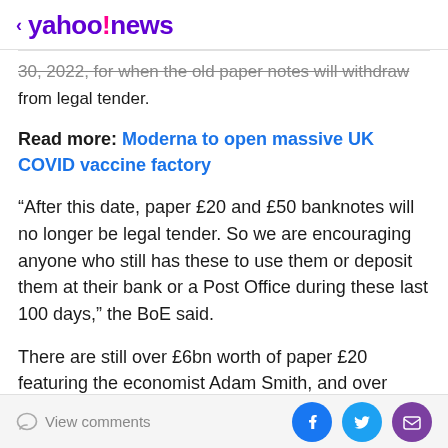< yahoo!news
30, 2022, for when the old paper notes will withdraw from legal tender.
Read more: Moderna to open massive UK COVID vaccine factory
“After this date, paper £20 and £50 banknotes will no longer be legal tender. So we are encouraging anyone who still has these to use them or deposit them at their bank or a Post Office during these last 100 days,” the BoE said.
There are still over £6bn worth of paper £20 featuring the economist Adam Smith, and over £8bn worth of paper £50 banknotes featuring the engineers Boulton
View comments